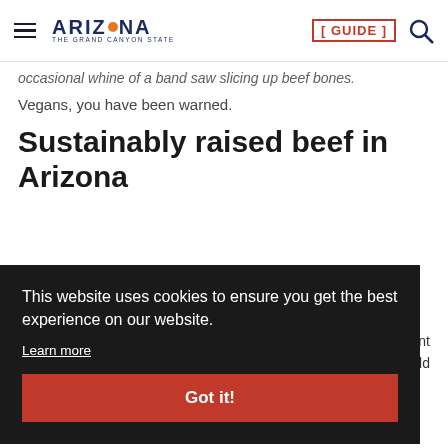ARIZONA THE GRAND CANYON STATE [ GUIDE ]
occasional whine of a band saw slicing up beef bones.
Vegans, you have been warned.
Sustainably raised beef in Arizona
This website uses cookies to ensure you get the best experience on our website. Learn more
Got it!
that beef gets auctioned, shipped out to feedlots out of